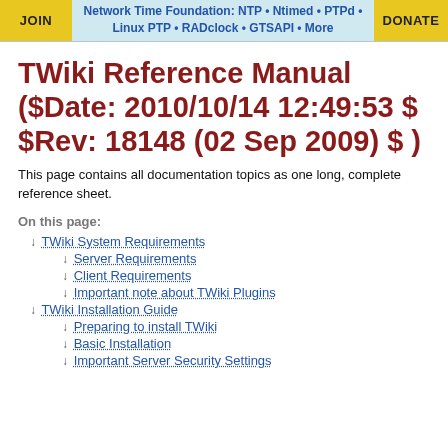JOIN | Network Time Foundation: NTP • Ntimed • PTPd • Linux PTP • RADclock • GTSAPI • More | DONATE
TWiki Reference Manual ($Date: 2010/10/14 12:49:53 $ $Rev: 18148 (02 Sep 2009) $ )
This page contains all documentation topics as one long, complete reference sheet.
On this page:
↓ TWiki System Requirements
↓ Server Requirements
↓ Client Requirements
↓ Important note about TWiki Plugins
↓ TWiki Installation Guide
↓ Preparing to install TWiki
↓ Basic Installation
↓ Important Server Security Settings